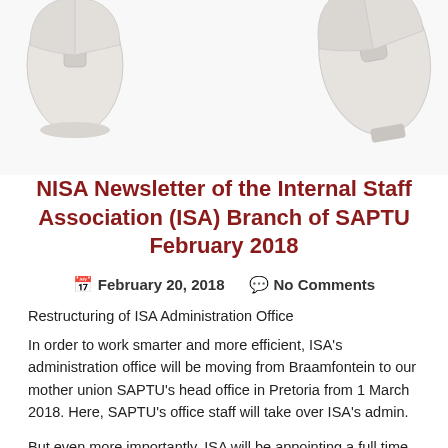[Figure (photo): Two white computer mice partially visible at top of the page on a white background]
NISA Newsletter of the Internal Staff Association (ISA) Branch of SAPTU February 2018
February 20, 2018   No Comments
Restructuring of ISA Administration Office
In order to work smarter and more efficient, ISA's administration office will be moving from Braamfontein to our mother union SAPTU's head office in Pretoria from 1 March 2018. Here, SAPTU's office staff will take over ISA's admin.
But even more importantly, ISA will be appointing a full time shop steward to better serve our members. The shop steward will also be based in Pretoria and will travel to our various laboratories to address members, assist members with problems and represent